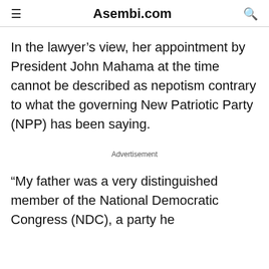Asembi.com
In the lawyer’s view, her appointment by President John Mahama at the time cannot be described as nepotism contrary to what the governing New Patriotic Party (NPP) has been saying.
Advertisement
“My father was a very distinguished member of the National Democratic Congress (NDC), a party he